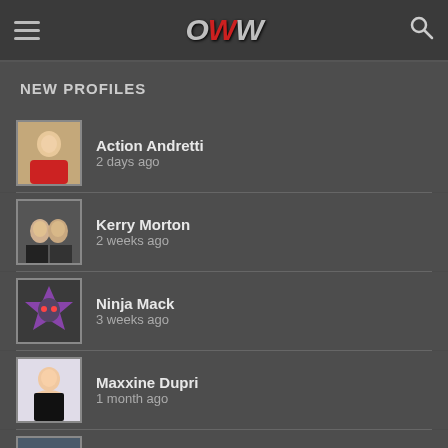OWW
NEW PROFILES
Action Andretti
2 days ago
Kerry Morton
2 weeks ago
Ninja Mack
3 weeks ago
Maxxine Dupri
1 month ago
Danni Bee